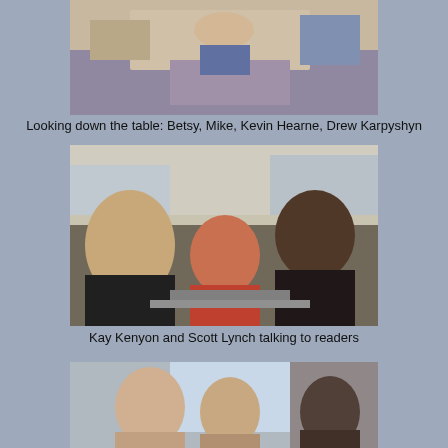[Figure (photo): Photo looking down a table showing people at a signing event, partial view of hands and arms on table surface]
Looking down the table: Betsy, Mike, Kevin Hearne, Drew Karpyshyn
[Figure (photo): Photo of Kay Kenyon and Scott Lynch talking to readers at an outdoor signing event, multiple people visible at tables]
Kay Kenyon and Scott Lynch talking to readers
[Figure (photo): Photo of two people posing together at what appears to be an indoor event space]